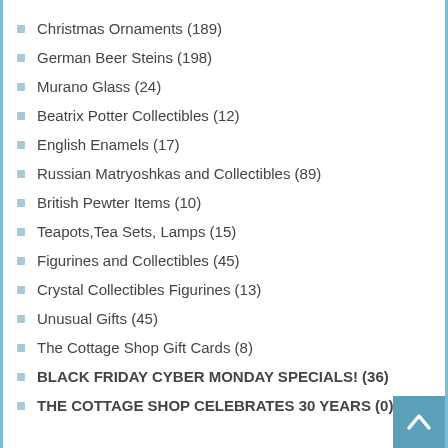Christmas Ornaments (189)
German Beer Steins (198)
Murano Glass (24)
Beatrix Potter Collectibles (12)
English Enamels (17)
Russian Matryoshkas and Collectibles (89)
British Pewter Items (10)
Teapots,Tea Sets, Lamps (15)
Figurines and Collectibles (45)
Crystal Collectibles Figurines (13)
Unusual Gifts (45)
The Cottage Shop Gift Cards (8)
BLACK FRIDAY CYBER MONDAY SPECIALS! (36)
THE COTTAGE SHOP CELEBRATES 30 YEARS (0)